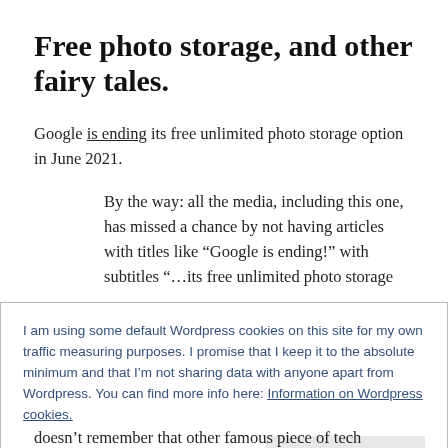Free photo storage, and other fairy tales.
Google is ending its free unlimited photo storage option in June 2021.
By the way: all the media, including this one, has missed a chance by not having articles with titles like “Google is ending!” with subtitles “…its free unlimited photo storage
I am using some default Wordpress cookies on this site for my own traffic measuring purposes. I promise that I keep it to the absolute minimum and that I’m not sharing data with anyone apart from Wordpress. You can find more info here: Information on Wordpress cookies.
doesn’t remember that other famous piece of tech